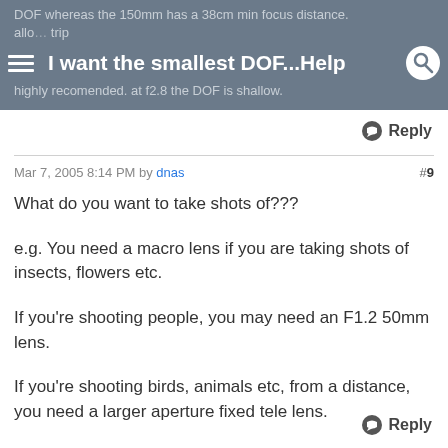DOF whereas the 150mm has a 38cm min focus distance. ... allowed ... trip ... highly recomended. at f2.8 the DOF is shallow.
I want the smallest DOF...Help
Reply
Mar 7, 2005 8:14 PM by dnas  #9
What do you want to take shots of???
e.g. You need a macro lens if you are taking shots of insects, flowers etc.
If you're shooting people, you may need an F1.2 50mm lens.
If you're shooting birds, animals etc, from a distance, you need a larger aperture fixed tele lens.
Reply